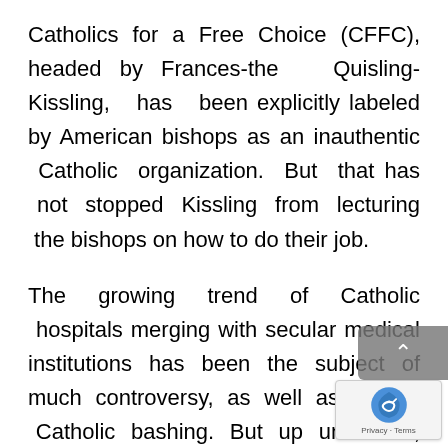Catholics for a Free Choice (CFFC), headed by Frances-the Quisling-Kissling, has been explicitly labeled by American bishops as an inauthentic Catholic organization. But that has not stopped Kissling from lecturing the bishops on how to do their job.
The growing trend of Catholic hospitals merging with secular medical institutions has been the subject of much controversy, as well as much Catholic bashing. But up until now, at least, no one has had the audacity to tell the bishops to put a lid on it. That's what Kissling wants and she isn't afraid to say it.